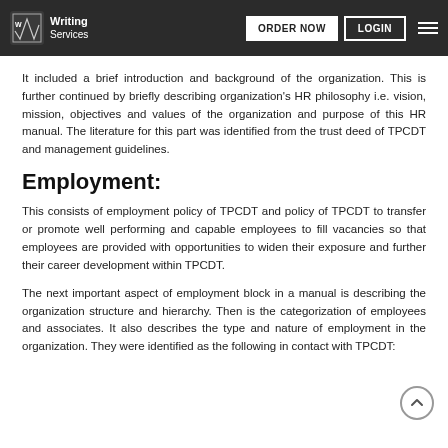Writing Services | ORDER NOW | LOGIN
It included a brief introduction and background of the organization. This is further continued by briefly describing organization's HR philosophy i.e. vision, mission, objectives and values of the organization and purpose of this HR manual. The literature for this part was identified from the trust deed of TPCDT and management guidelines.
Employment:
This consists of employment policy of TPCDT and policy of TPCDT to transfer or promote well performing and capable employees to fill vacancies so that employees are provided with opportunities to widen their exposure and further their career development within TPCDT.
The next important aspect of employment block in a manual is describing the organization structure and hierarchy. Then is the categorization of employees and associates. It also describes the type and nature of employment in the organization. They were identified as the following in contact with TPCDT: